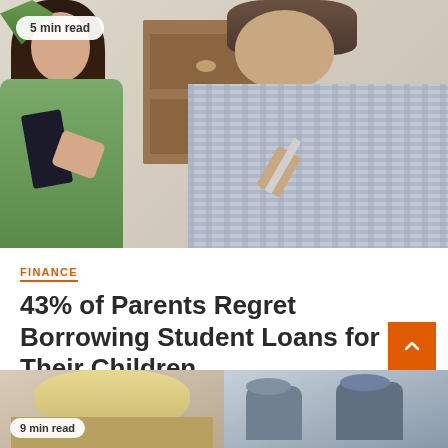[Figure (photo): A woman holding a clipboard and a man signing a document, sitting at a table. Office/consultation setting with wooden cabinet in background.]
5 min read
FINANCE
43% of Parents Regret Borrowing Student Loans for Their Children
15 hours ago
[Figure (photo): Two partial images side by side: left shows a blonde person from behind, right shows people in a meeting or conversation setting.]
9 min read